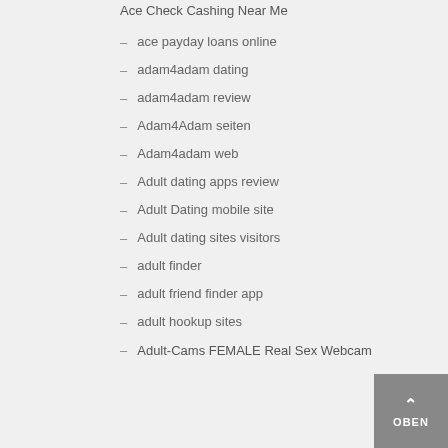Ace Check Cashing Near Me
ace payday loans online
adam4adam dating
adam4adam review
Adam4Adam seiten
Adam4adam web
Adult dating apps review
Adult Dating mobile site
Adult dating sites visitors
adult finder
adult friend finder app
adult hookup sites
Adult-Cams FEMALE Real Sex Webcam